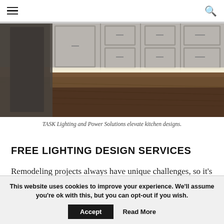Navigation menu and search icon
[Figure (photo): Kitchen interior showing under-cabinet LED strip lighting illuminating a hardwood floor, with gray shaker-style cabinets in the background.]
TASK Lighting and Power Solutions elevate kitchen designs.
FREE LIGHTING DESIGN SERVICES
Remodeling projects always have unique challenges, so it's helpful to have access to experts
This website uses cookies to improve your experience. We'll assume you're ok with this, but you can opt-out if you wish.